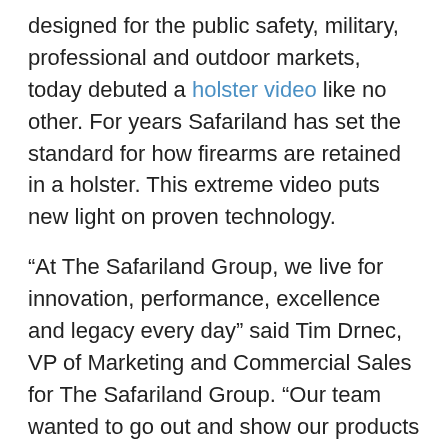designed for the public safety, military, professional and outdoor markets, today debuted a holster video like no other. For years Safariland has set the standard for how firearms are retained in a holster. This extreme video puts new light on proven technology.
“At The Safariland Group, we live for innovation, performance, excellence and legacy every day” said Tim Drnec, VP of Marketing and Commercial Sales for The Safariland Group. “Our team wanted to go out and show our products in an all-new way, and they certainly achieved that-and then some. These scenarios demonstrate the ultra-reliability of our holsters’ function, design, build and of course, retention.”
Secure Against High Force, Jolts and Torque
Strength, power and endurance are all honed in the gym. They’re also qualities of the world’s top holsters. So